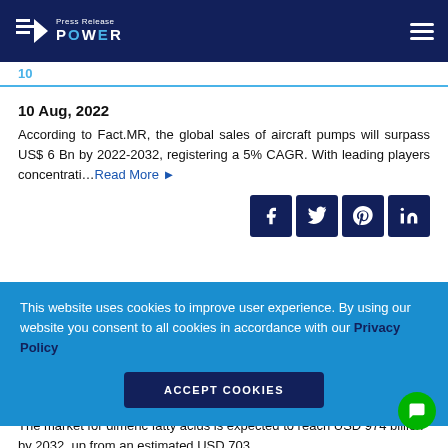Press Release POWER — navigation header
10
10 Aug, 2022
According to Fact.MR, the global sales of aircraft pumps will surpass US$ 6 Bn by 2022-2032, registering a 5% CAGR. With leading players concentrati…Read More ▶
This website uses cookies to improve user experience. By using our website you consent to all cookies in accordance with our Privacy Policy
ACCEPT COOKIES
10 Aug, 2022
The market for dimeric fatty acids is expected to reach USD 974 billion by 2032, up from an estimated USD 703…